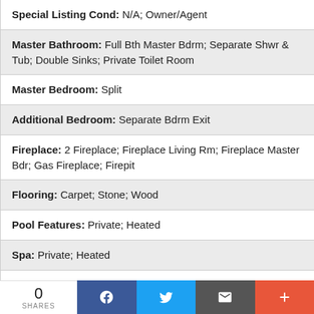Special Listing Cond: N/A; Owner/Agent
Master Bathroom: Full Bth Master Bdrm; Separate Shwr & Tub; Double Sinks; Private Toilet Room
Master Bedroom: Split
Additional Bedroom: Separate Bdrm Exit
Fireplace: 2 Fireplace; Fireplace Living Rm; Fireplace Master Bdr; Gas Fireplace; Firepit
Flooring: Carpet; Stone; Wood
Pool Features: Private; Heated
Spa: Private; Heated
Community Features: Biking/Walking Path; Children's Playgrnd; Clubhouse/Rec Room; Comm Tennis Court(s);
0 SHARES | Facebook | Twitter | Email | +